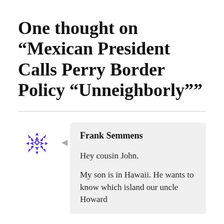One thought on “Mexican President Calls Perry Border Policy “Unneighborly””
Frank Semmens
Hey cousin John.

My son is in Hawaii. He wants to know which island our uncle Howard